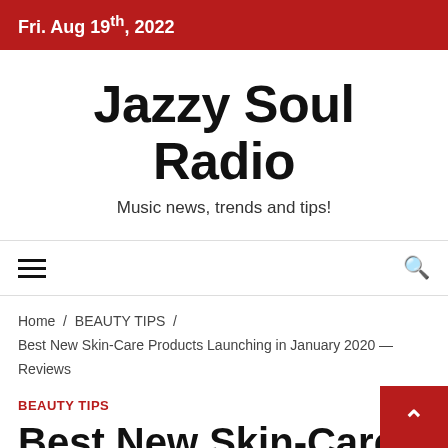Fri. Aug 19th, 2022
Jazzy Soul Radio
Music news, trends and tips!
Navigation menu and search
Home / BEAUTY TIPS / Best New Skin-Care Products Launching in January 2020 — Reviews
BEAUTY TIPS
Best New Skin-Care